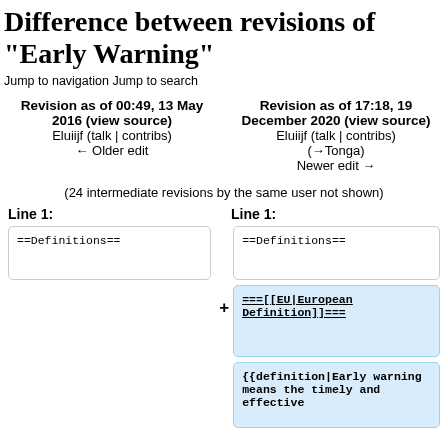Difference between revisions of "Early Warning"
Jump to navigation Jump to search
| Left revision | Right revision |
| --- | --- |
| Revision as of 00:49, 13 May 2016 (view source)
Eluiijf (talk | contribs)
← Older edit | Revision as of 17:18, 19 December 2020 (view source)
Eluiijf (talk | contribs)
(→Tonga)
Newer edit → |
(24 intermediate revisions by the same user not shown)
Line 1:	Line 1:
==Definitions==
==Definitions==
===[[EU|European Definition]]===
{{definition|Early warning means the timely and effective